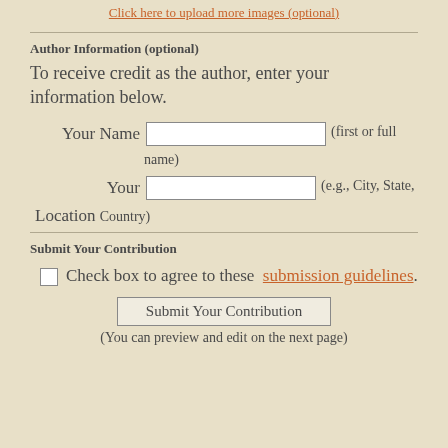Click here to upload more images (optional)
Author Information (optional)
To receive credit as the author, enter your information below.
Your Name [input field] (first or full name)
Your Location [input field] (e.g., City, State, Country)
Submit Your Contribution
Check box to agree to these submission guidelines.
Submit Your Contribution
(You can preview and edit on the next page)